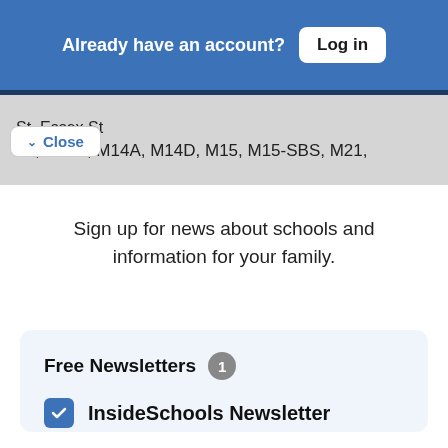Already have an account? Log in
St–Essex St
39, M103, M14A, M14D, M15, M15-SBS, M21,
Close
Sign up for news about schools and information for your family.
Free Newsletters 1
InsideSchools Newsletter